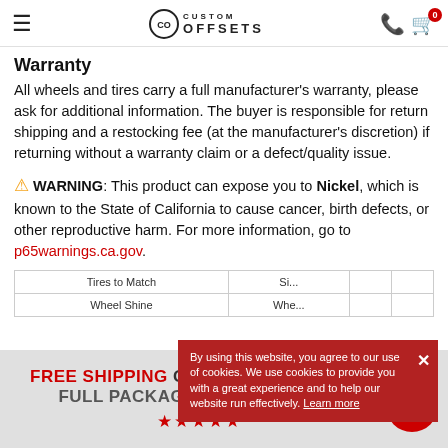Custom Offsets — navigation header with logo, phone, and cart icons
Warranty
All wheels and tires carry a full manufacturer's warranty, please ask for additional information. The buyer is responsible for return shipping and a restocking fee (at the manufacturer's discretion) if returning without a warranty claim or a defect/quality issue.
⚠ WARNING: This product can expose you to Nickel, which is known to the State of California to cause cancer, birth defects, or other reproductive harm. For more information, go to p65warnings.ca.gov.
| Tires to Match | Si... |  |  |
| --- | --- | --- | --- |
| Wheel Shine | Whe... |  |  |
By using this website, you agree to our use of cookies. We use cookies to provide you with a great experience and to help our website run effectively. Learn more
FREE SHIPPING ON WHEEL, TIRE, AND FULL PACKAGES TO LOWER 48!